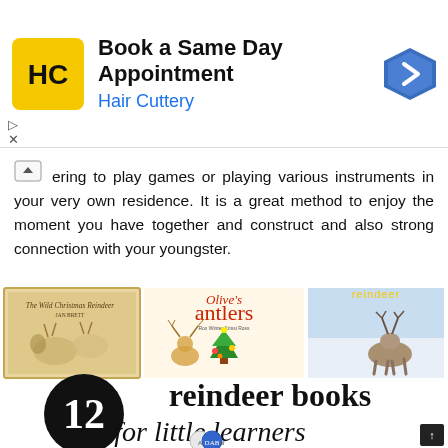[Figure (screenshot): Hair Cuttery advertisement banner: yellow/gold logo with HC initials, 'Book a Same Day Appointment' headline, 'Hair Cuttery' subtitle in blue, blue diamond navigation arrow icon on right. Small play/close controls at bottom left.]
ering to play games or playing various instruments in your very own residence. It is a great method to enjoy the moment you have together and construct and also strong connection with your youngster.
[Figure (illustration): A collage of three reindeer book covers: 'The Wild Christmas Reindeer' by Jan Brett, 'Olive's antlers' by Rox Winter / Krissi Ross (with Christmas tree and moose-like character), and 'Reindeer' (photo of a real reindeer in snow). Below the books is a large promotional graphic reading '12 reindeer books for little learners' with '12' in a black circle and script/italic text, white background. At the bottom a small 'A DAB of' logo is partially visible.]